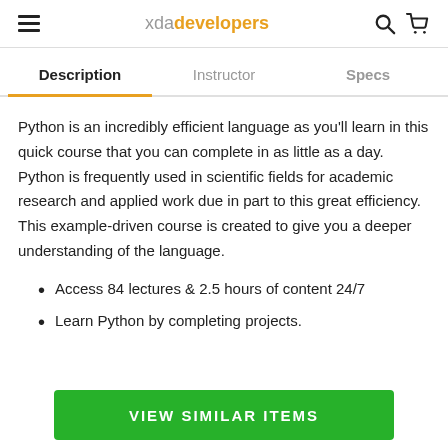xda developers
Description | Instructor | Specs
Python is an incredibly efficient language as you'll learn in this quick course that you can complete in as little as a day. Python is frequently used in scientific fields for academic research and applied work due in part to this great efficiency. This example-driven course is created to give you a deeper understanding of the language.
Access 84 lectures & 2.5 hours of content 24/7
Learn Python by completing projects.
VIEW SIMILAR ITEMS